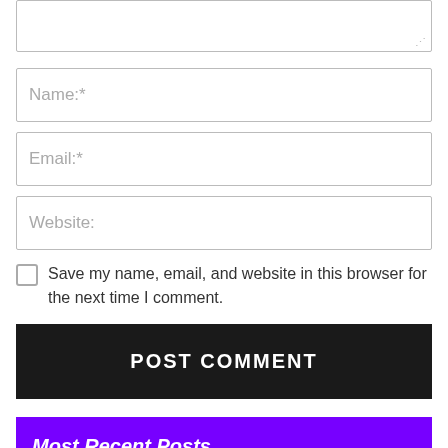[Figure (screenshot): Textarea input box with resize handle at bottom-right]
Name:*
Email:*
Website:
Save my name, email, and website in this browser for the next time I comment.
POST COMMENT
Most Recent Posts